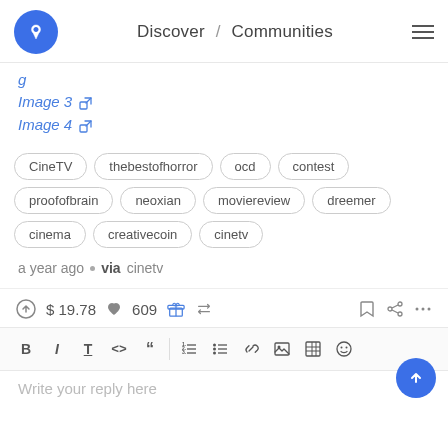Discover / Communities
Image 3 [external link]
Image 4 [external link]
CineTV  thebestofhorror  ocd  contest  proofofbrain  neoxian  moviereview  dreemer  cinema  creativecoin  cinetv
a year ago • via cinetv
$ 19.78  609
Write your reply here